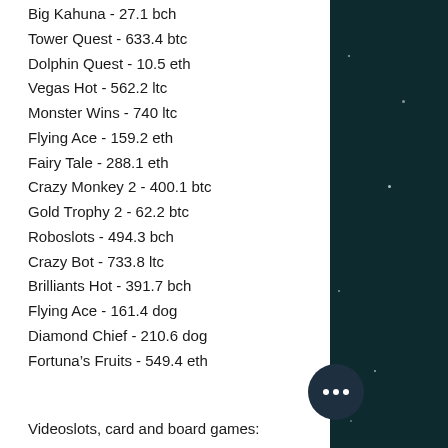Big Kahuna - 27.1 bch
Tower Quest - 633.4 btc
Dolphin Quest - 10.5 eth
Vegas Hot - 562.2 ltc
Monster Wins - 740 ltc
Flying Ace - 159.2 eth
Fairy Tale - 288.1 eth
Crazy Monkey 2 - 400.1 btc
Gold Trophy 2 - 62.2 btc
Roboslots - 494.3 bch
Crazy Bot - 733.8 ltc
Brilliants Hot - 391.7 bch
Flying Ace - 161.4 dog
Diamond Chief - 210.6 dog
Fortuna’s Fruits - 549.4 eth
Videoslots, card and board games:
1xBit Casino Arcade
Vegas Crest Casino Fountain of Fortu…
Betchan Casino Avalon
King Billy Casino Arcade